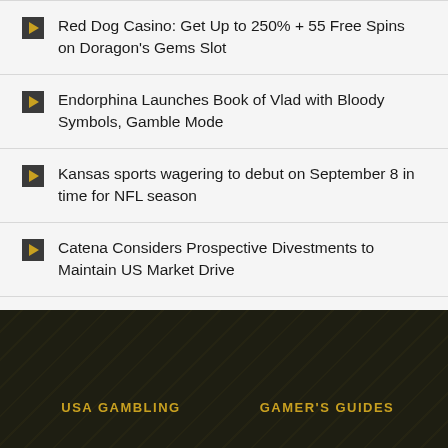Red Dog Casino: Get Up to 250% + 55 Free Spins on Doragon's Gems Slot
Endorphina Launches Book of Vlad with Bloody Symbols, Gamble Mode
Kansas sports wagering to debut on September 8 in time for NFL season
Catena Considers Prospective Divestments to Maintain US Market Drive
USA GAMBLING    GAMER'S GUIDES